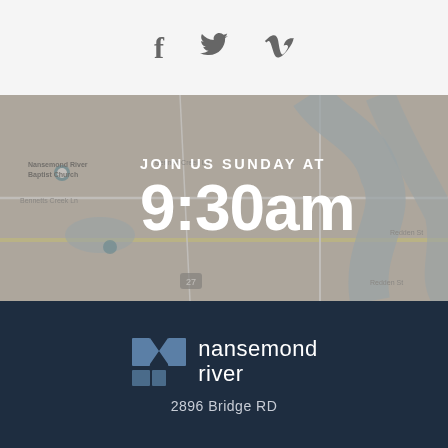[Figure (infographic): Social media icons: Facebook (f), Twitter (bird), Vimeo (V) on light gray background]
[Figure (map): Google Maps view of Nansemond River Baptist Church area with overlay text 'JOIN US SUNDAY AT 9:30am']
[Figure (logo): Nansemond River church logo with stylized N mark in dark navy. Text reads 'nansemond river']
2896 Bridge RD